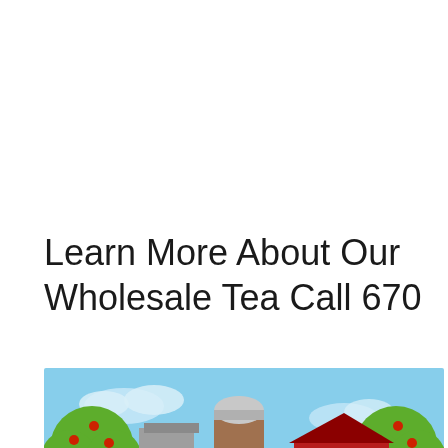Learn More About Our Wholesale Tea Call 670
[Figure (illustration): Animated farm scene thumbnail with a play button overlay. Shows green apple trees with red apples on the left and right, a brown grain silo in the center background, a red barn, a blue vehicle, and a bag of tea/grain in the foreground. Light blue sky with clouds. A circular play button (white border, dark interior with white triangle) is centered over the image.]